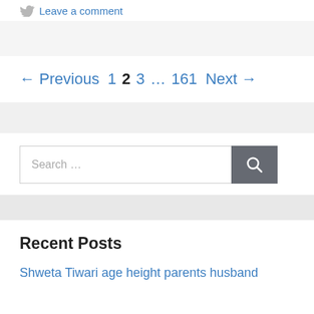Leave a comment
← Previous  1  2  3  …  161  Next →
Search …
Recent Posts
Shweta Tiwari age height parents husband